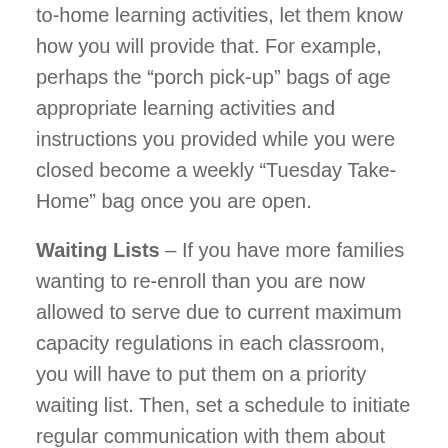to-home learning activities, let them know how you will provide that. For example, perhaps the “porch pick-up” bags of age appropriate learning activities and instructions you provided while you were closed become a weekly “Tuesday Take-Home” bag once you are open.
Waiting Lists – If you have more families wanting to re-enroll than you are now allowed to serve due to current maximum capacity regulations in each classroom, you will have to put them on a priority waiting list. Then, set a schedule to initiate regular communication with them about status. Include them on any virtual lessons and activities you provide, invite them to family Zoom calls and teacher